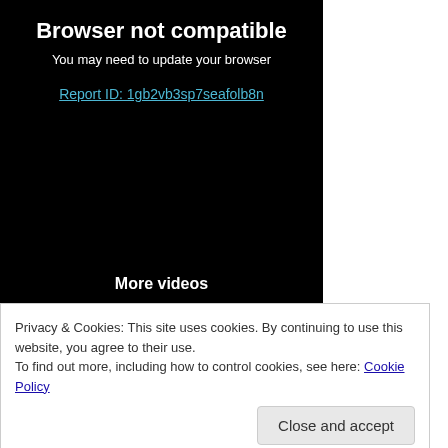Browser not compatible
You may need to update your browser
Report ID: 1gb2vb3sp7seafolb8n
More videos
Privacy & Cookies: This site uses cookies. By continuing to use this website, you agree to their use.
To find out more, including how to control cookies, see here: Cookie Policy
Close and accept